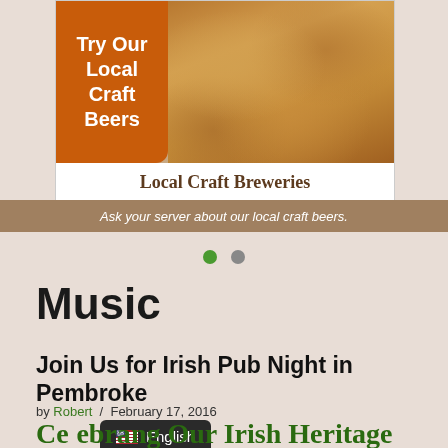[Figure (illustration): Advertisement banner for Local Craft Breweries with orange box saying 'Try Our Local Craft Beers' on left, photo of people clinking beer glasses on right, title 'Local Craft Breweries' below, and footer bar reading 'Ask your server about our local craft beers.']
Music
Join Us for Irish Pub Night in Pembroke
by Robert / February 17, 2016
Celebrating Our Irish Heritage